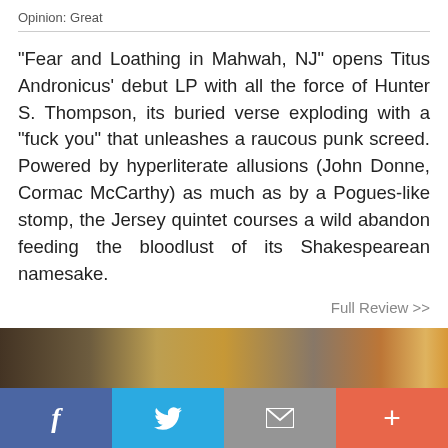Opinion: Great
“Fear and Loathing in Mahwah, NJ” opens Titus Andronicus’ debut LP with all the force of Hunter S. Thompson, its buried verse exploding with a “fuck you” that unleashes a raucous punk screed. Powered by hyperliterate allusions (John Donne, Cormac McCarthy) as much as by a Pogues-like stomp, the Jersey quintet courses a wild abandon feeding the bloodlust of its Shakespearean namesake.
Full Review >>
[Figure (photo): Partial photo strip showing an indoor scene with shelving/equipment, partially visible at bottom of page]
Facebook | Twitter | Email | Plus